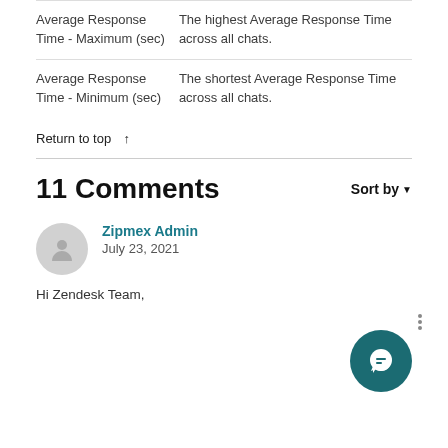| Field | Description |
| --- | --- |
| Average Response Time - Maximum (sec) | The highest Average Response Time across all chats. |
| Average Response Time - Minimum (sec) | The shortest Average Response Time across all chats. |
Return to top ↑
11 Comments
Sort by ▼
Zipmex Admin
July 23, 2021
Hi Zendesk Team,